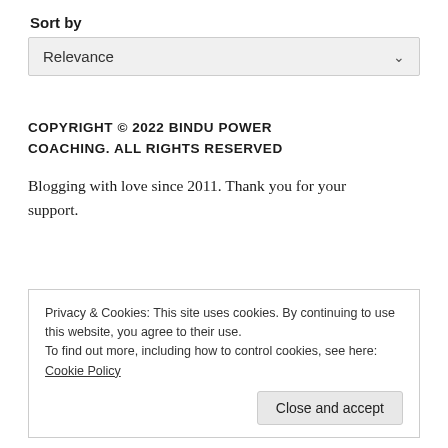Sort by
Relevance
COPYRIGHT © 2022 BINDU POWER COACHING. ALL RIGHTS RESERVED
Blogging with love since 2011. Thank you for your support.
Privacy & Cookies: This site uses cookies. By continuing to use this website, you agree to their use.
To find out more, including how to control cookies, see here: Cookie Policy
Close and accept